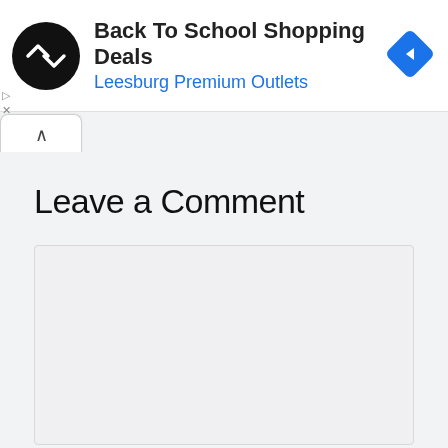[Figure (screenshot): Advertisement banner: circular black logo with double arrow symbol, text 'Back To School Shopping Deals' in bold black and 'Leesburg Premium Outlets' in blue, blue diamond navigation icon on right, play and close controls on left.]
Leave a Comment